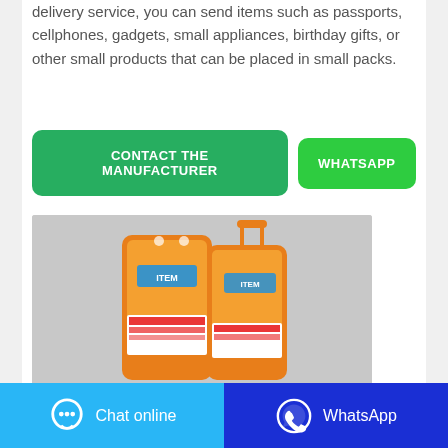delivery service, you can send items such as passports, cellphones, gadgets, small appliances, birthday gifts, or other small products that can be placed in small packs.
CONTACT THE MANUFACTURER
WHATSAPP
[Figure (photo): Two orange bags of laundry detergent (ITEM brand) against a light grey background.]
Chat online
WhatsApp